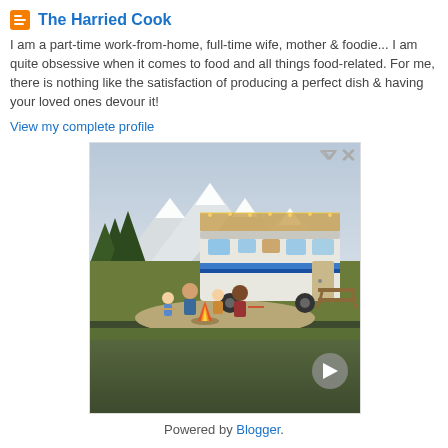The Harried Cook
I am a part-time work-from-home, full-time wife, mother & foodie... I am quite obsessive when it comes to food and all things food-related. For me, there is nothing like the satisfaction of producing a perfect dish & having your loved ones devour it!
View my complete profile
[Figure (photo): Advertisement showing a family sitting around a campfire in front of a large RV, with mountains and trees in the background. A navigation arrow button appears at the bottom right.]
Powered by Blogger.